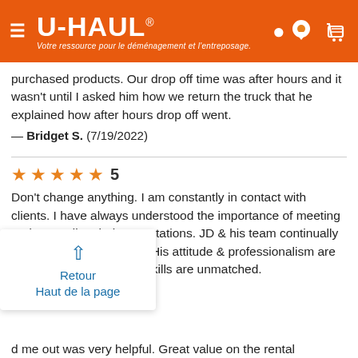[Figure (logo): U-HAUL logo with orange header background, hamburger menu icon, location pin icon, and cart icon. Subtitle: 'Votre ressource pour le déménagement et l'entreposage.']
purchased products. Our drop off time was after hours and it wasn't until I asked him how we return the truck that he explained how after hours drop off went.
— Bridget S.  (7/19/2022)
★★★★★ 5
Don't change anything. I am constantly in contact with clients. I have always understood the importance of meeting and exceeding their expectations. JD & his team continually exceed my expectations. His attitude & professionalism are top notch & his listening skills are unmatched.
— John F.  (7/18/2022)
Retour
Haut de la page
d me out was very helpful. Great value on the rental